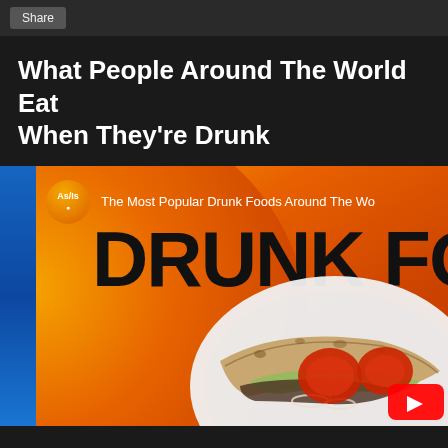Share
What People Around The World Eat When They’re Drunk
[Figure (screenshot): Video thumbnail for 'The Most Popular Drunk Foods Around The World' by As/Is channel, showing a food (doner kebab/wrap with tomatoes and lettuce on a plate) on an orange background with blue left strip, large bold text reading 'DRUNK FO' (cropped), As/Is channel badge, and a YouTube play button in the lower right corner.]